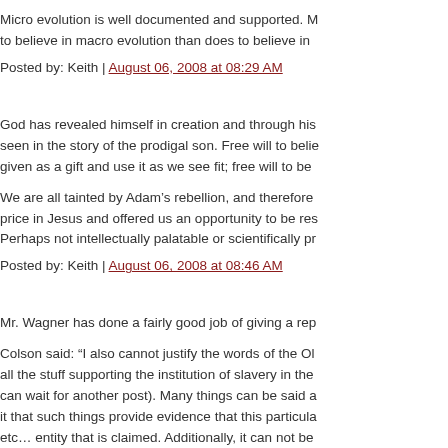Micro evolution is well documented and supported. M... to believe in macro evolution than does to believe in...
Posted by: Keith | August 06, 2008 at 08:29 AM
God has revealed himself in creation and through his... seen in the story of the prodigal son. Free will to belie... given as a gift and use it as we see fit; free will to be...
We are all tainted by Adam’s rebellion, and therefore... price in Jesus and offered us an opportunity to be res... Perhaps not intellectually palatable or scientifically pr...
Posted by: Keith | August 06, 2008 at 08:46 AM
Mr. Wagner has done a fairly good job of giving a rep...
Colson said: “I also cannot justify the words of the Ol... all the stuff supporting the institution of slavery in the... can wait for another post). Many things can be said a... it that such things provide evidence that this particula... etc… entity that is claimed. Additionally, it can not be... the giver of clear and unambiguous rules of Good vs...